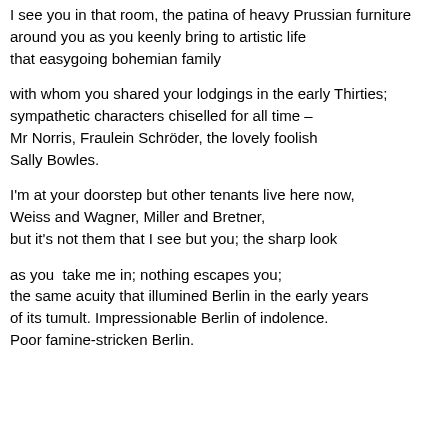I see you in that room, the patina of heavy Prussian furniture
around you as you keenly bring to artistic life
that easygoing bohemian family
with whom you shared your lodgings in the early Thirties;
sympathetic characters chiselled for all time –
Mr Norris, Fraulein Schröder, the lovely foolish
Sally Bowles.
I'm at your doorstep but other tenants live here now,
Weiss and Wagner, Miller and Bretner,
but it's not them that I see but you; the sharp look
as you  take me in; nothing escapes you;
the same acuity that illumined Berlin in the early years
of its tumult. Impressionable Berlin of indolence.
Poor famine-stricken Berlin.